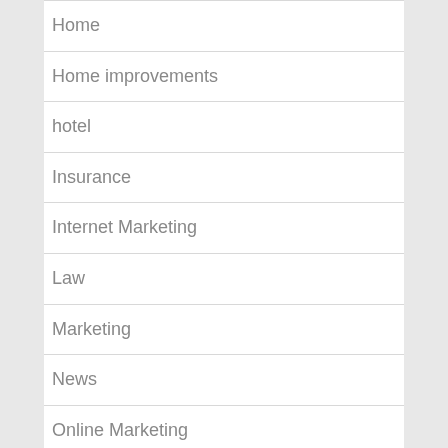Home
Home improvements
hotel
Insurance
Internet Marketing
Law
Marketing
News
Online Marketing
Pets